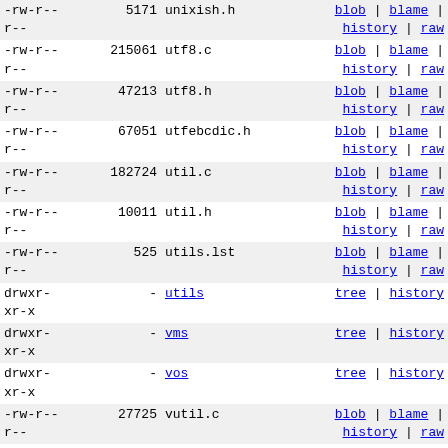| permissions | size | name | links |
| --- | --- | --- | --- |
| -rw-r--r-- | 5171 | unixish.h | blob | blame | history | raw |
| -rw-r--r-- | 215061 | utf8.c | blob | blame | history | raw |
| -rw-r--r-- | 47213 | utf8.h | blob | blame | history | raw |
| -rw-r--r-- | 67051 | utfebcdic.h | blob | blame | history | raw |
| -rw-r--r-- | 182724 | util.c | blob | blame | history | raw |
| -rw-r--r-- | 10011 | util.h | blob | blame | history | raw |
| -rw-r--r-- | 525 | utils.lst | blob | blame | history | raw |
| drwxr-xr-x | - | utils | tree | history |
| drwxr-xr-x | - | vms | tree | history |
| drwxr-xr-x | - | vos | tree | history |
| -rw-r--r-- | 27725 | vutil.c | blob | blame | history | raw |
| -rw-r--r-- | 7993 | vutil.h | blob | blame | history | raw |
| -rw-r--r-- | 11185 | vxs.inc | blob | blame | history | raw |
| -rw-r--r-- | 8148 | warnings.h | blob | blame | history | raw |